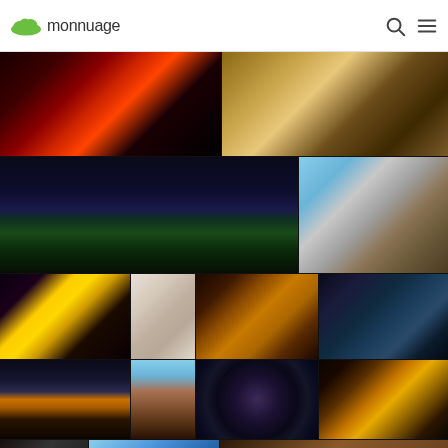[Figure (screenshot): Monnuage website screenshot showing a photo gallery grid of New York City images with logo and navigation header]
monnuage